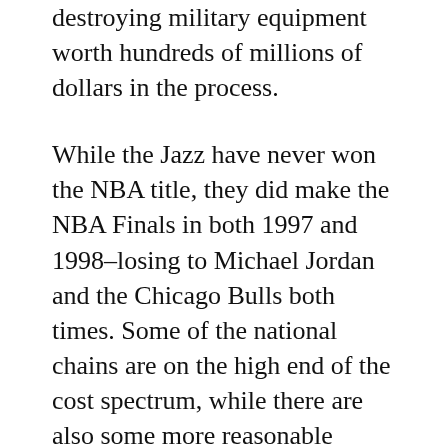destroying military equipment worth hundreds of millions of dollars in the process.
While the Jazz have never won the NBA title, they did make the NBA Finals in both 1997 and 1998–losing to Michael Jordan and the Chicago Bulls both times. Some of the national chains are on the high end of the cost spectrum, while there are also some more reasonable options. Does your house have room for a super large animal or would a medium or small one be more suitable?
It comes natural to most females to have that mother instinct, that certain feeling that when something is wrong with your children you know it. What may be the correct play for one